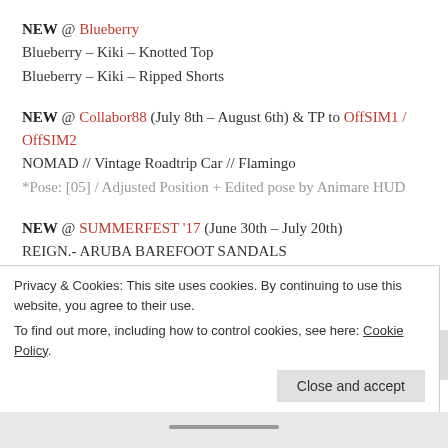NEW @ Blueberry
Blueberry – Kiki – Knotted Top
Blueberry – Kiki – Ripped Shorts
NEW @ Collabor88 (July 8th – August 6th) & TP to OffSIM1 / OffSIM2
NOMAD // Vintage Roadtrip Car // Flamingo
*Pose: [05] / Adjusted Position + Edited pose by Animare HUD
NEW @ SUMMERFEST '17 (June 30th – July 20th)
REIGN.- ARUBA BAREFOOT SANDALS
REIGN.- ARUBA WEDGES
Privacy & Cookies: This site uses cookies. By continuing to use this website, you agree to their use.
To find out more, including how to control cookies, see here: Cookie Policy